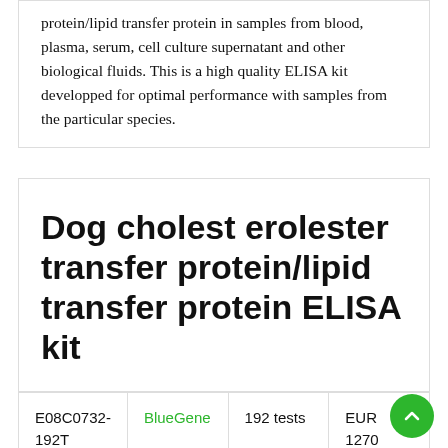protein/lipid transfer protein in samples from blood, plasma, serum, cell culture supernatant and other biological fluids. This is a high quality ELISA kit developped for optimal performance with samples from the particular species.
Dog cholesterol transfer protein/lipid transfer protein ELISA kit
|  |  |  |  |
| --- | --- | --- | --- |
| E08C0732-192T | BlueGene | 192 tests | EUR 1270 |